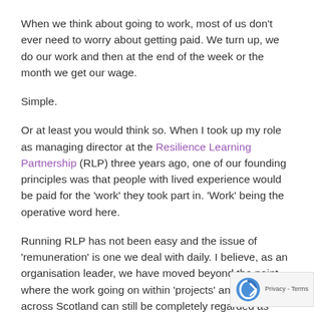When we think about going to work, most of us don't ever need to worry about getting paid. We turn up, we do our work and then at the end of the week or the month we get our wage.
Simple.
Or at least you would think so. When I took up my role as managing director at the Resilience Learning Partnership (RLP) three years ago, one of our founding principles was that people with lived experience would be paid for the 'work' they took part in. 'Work' being the operative word here.
Running RLP has not been easy and the issue of 'remuneration' is one we deal with daily. I believe, as an organisation leader, we have moved beyond the point where the work going on within 'projects' and 'initiatives' across Scotland can still be completely regarded as 'participation' and or 'engagement'. Individuals young and old are taking part in huge pieces of work that in policy design, delivery and implementation, the creation of